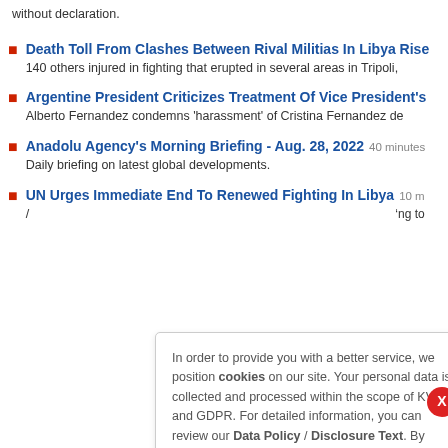without declaration.
Death Toll From Clashes Between Rival Militias In Libya Rise - 140 others injured in fighting that erupted in several areas in Tripoli,
Argentine President Criticizes Treatment Of Vice President's - Alberto Fernandez condemns 'harassment' of Cristina Fernandez de
Anadolu Agency's Morning Briefing - Aug. 28, 2022  40 minutes - Daily briefing on latest global developments.
UN Urges Immediate End To Renewed Fighting In Libya  10 m - / 'ing to
In order to provide you with a better service, we position cookies on our site. Your personal data is collected and processed within the scope of KVKK and GDPR. For detailed information, you can review our Data Policy / Disclosure Text. By using our site, you agree to our use of cookies.
HA Yeni Abou
Sp ctual new ly me
content to individual third parties for